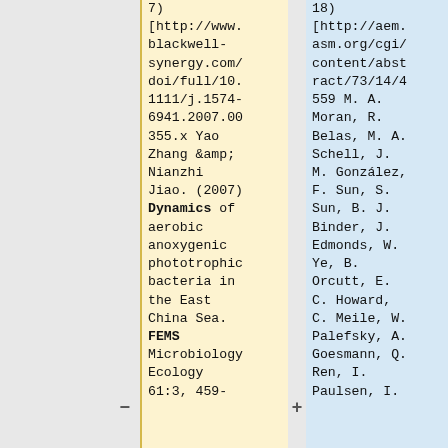7) [http://www.blackwell-synergy.com/doi/full/10.1111/j.1574-6941.2007.00355.x Yao Zhang & Nianzhi Jiao. (2007) Dynamics of aerobic anoxygenic phototrophic bacteria in the East China Sea. FEMS Microbiology Ecology 61:3, 459-
18) [http://aem.asm.org/cgi/content/abstract/73/14/4559 M. A. Moran, R. Belas, M. A. Schell, J. M. González, F. Sun, S. Sun, B. J. Binder, J. Edmonds, W. Ye, B. Orcutt, E. C. Howard, C. Meile, W. Palefsky, A. Goesmann, Q. Ren, I. Paulsen, I.